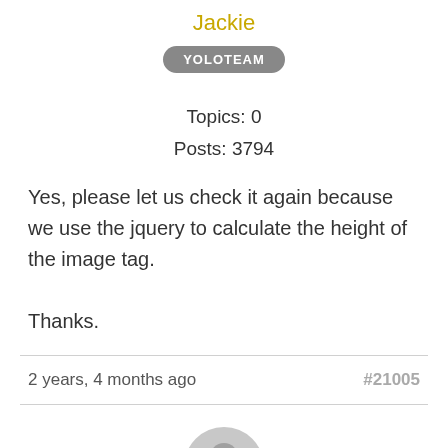Jackie
YOLOTEAM
Topics: 0
Posts: 3794
Yes, please let us check it again because we use the jquery to calculate the height of the image tag.

Thanks.
2 years, 4 months ago
#21005
[Figure (illustration): Generic user avatar icon in grey]